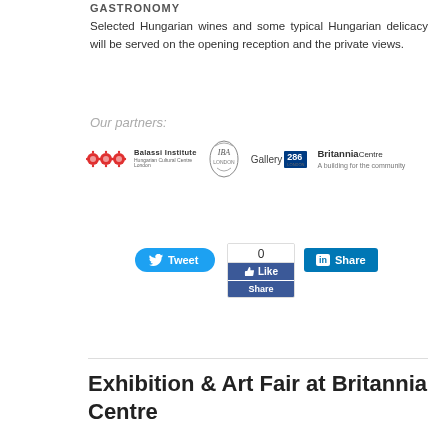GASTRONOMY
Selected Hungarian wines and some typical Hungarian delicacy will be served on the opening reception and the private views.
Our partners:
[Figure (logo): Partner logos: Balassi Institute, IBA crest, Gallery 286, Britannia Centre]
[Figure (screenshot): Social sharing buttons: Tweet button, Facebook Like/Share widget with count 0, LinkedIn Share button]
Exhibition & Art Fair at Britannia Centre